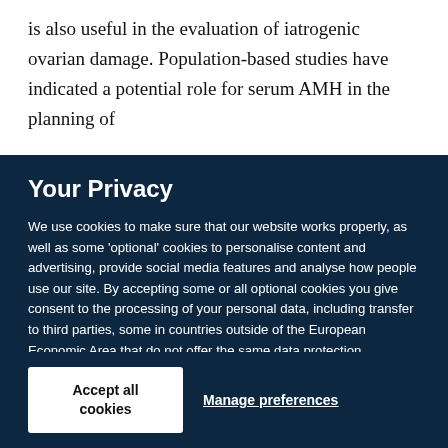is also useful in the evaluation of iatrogenic ovarian damage. Population-based studies have indicated a potential role for serum AMH in the planning of
Your Privacy
We use cookies to make sure that our website works properly, as well as some ‘optional’ cookies to personalise content and advertising, provide social media features and analyse how people use our site. By accepting some or all optional cookies you give consent to the processing of your personal data, including transfer to third parties, some in countries outside of the European Economic Area that do not offer the same data protection standards as the country where you live. You can decide which optional cookies to accept by clicking on ‘Manage Settings’, where you can also find more information about how your personal data is processed. Further information can be found in our privacy policy.
Accept all cookies
Manage preferences